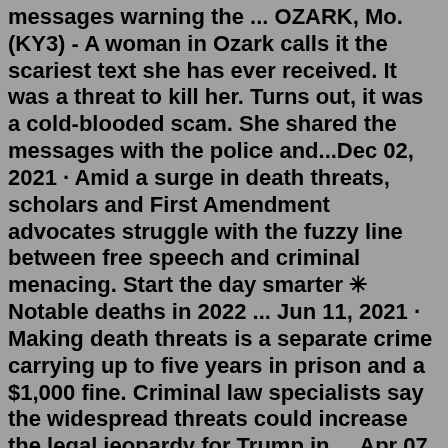messages warning the ... OZARK, Mo. (KY3) - A woman in Ozark calls it the scariest text she has ever received. It was a threat to kill her. Turns out, it was a cold-blooded scam. She shared the messages with the police and...Dec 02, 2021 · Amid a surge in death threats, scholars and First Amendment advocates struggle with the fuzzy line between free speech and criminal menacing. Start the day smarter ✳ Notable deaths in 2022 ... Jun 11, 2021 · Making death threats is a separate crime carrying up to five years in prison and a $1,000 fine. Criminal law specialists say the widespread threats could increase the legal jeopardy for Trump in ... Apr 07, 2022 · One variation making the local rounds is supposedly a Mexican cartel death threat sent via text message, Hernandez said. The FBI said that the threat follows a script similar to: My name is so-and ... Published June 28, 2022 3:25 PM Residents receive bomb, shooting threat text message targeting Crowley County MGN CROWLEY COUNTY, Colo. (KRDO) -- Crowley County Sheriff's Office is investigating a...It is an extortion message